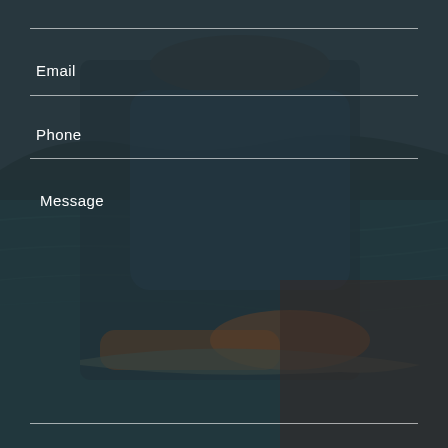[Figure (photo): Dark-tinted background photo of a person wearing a hat and sunglasses sitting in a boat on water, holding a fish near the water surface. The image has a dark blue-green overlay tint.]
Email
Phone
Message